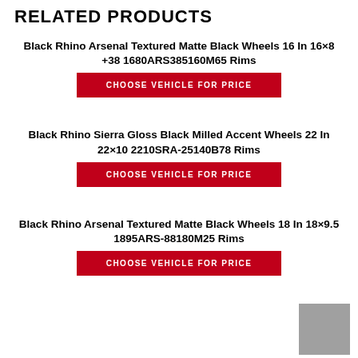RELATED PRODUCTS
Black Rhino Arsenal Textured Matte Black Wheels 16 In 16×8 +38 1680ARS385160M65 Rims
CHOOSE VEHICLE FOR PRICE
Black Rhino Sierra Gloss Black Milled Accent Wheels 22 In 22×10 2210SRA-25140B78 Rims
CHOOSE VEHICLE FOR PRICE
Black Rhino Arsenal Textured Matte Black Wheels 18 In 18×9.5 1895ARS-88180M25 Rims
CHOOSE VEHICLE FOR PRICE